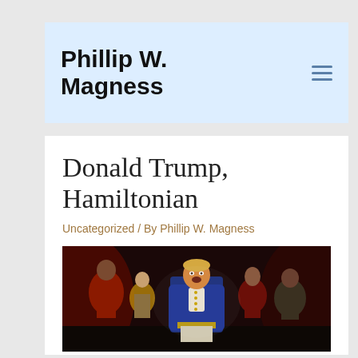Phillip W. Magness
Donald Trump, Hamiltonian
Uncategorized / By Phillip W. Magness
[Figure (photo): A photoshopped image of Donald Trump's face on a performer in Hamilton the musical, wearing a blue colonial coat, surrounded by cast members in period costumes on a theatrical stage with red lighting.]